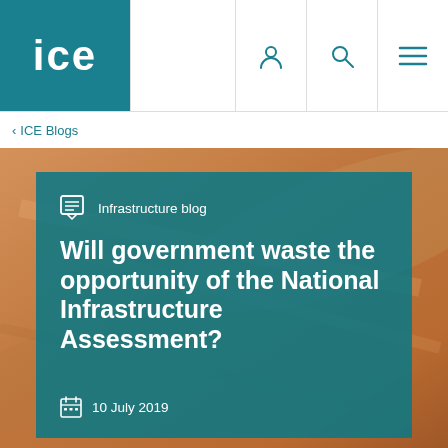ice
< ICE Blogs
[Figure (screenshot): Hero image of a wooden surface with teal overlay panel containing blog category label, article title, and date]
Infrastructure blog
Will government waste the opportunity of the National Infrastructure Assessment?
10 July 2019